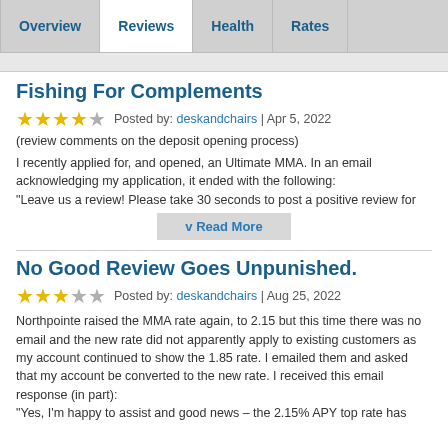Overview | Reviews | Health | Rates
Fishing For Complements
★★★★☆ Posted by: deskandchairs | Apr 5, 2022
(review comments on the deposit opening process)
I recently applied for, and opened, an Ultimate MMA. In an email acknowledging my application, it ended with the following: "Leave us a review! Please take 30 seconds to post a positive review for
v Read More
No Good Review Goes Unpunished.
★★★☆☆ Posted by: deskandchairs | Aug 25, 2022
Northpointe raised the MMA rate again, to 2.15 but this time there was no email and the new rate did not apparently apply to existing customers as my account continued to show the 1.85 rate. I emailed them and asked that my account be converted to the new rate. I received this email response (in part): "Yes, I'm happy to assist and good news – the 2.15% APY top rate has